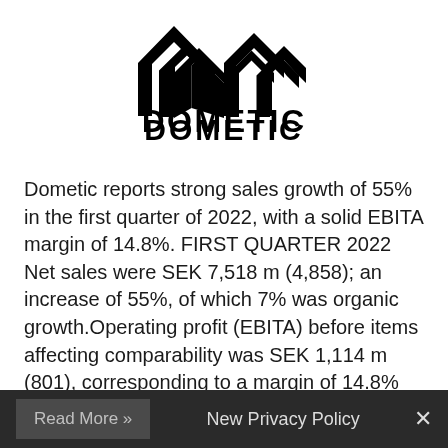[Figure (logo): Dometic logo: two angular chevron/arrow shapes in black above the brand name DOMETIC in bold black capital letters]
Dometic reports strong sales growth of 55% in the first quarter of 2022, with a solid EBITA margin of 14.8%. FIRST QUARTER 2022 Net sales were SEK 7,518 m (4,858); an increase of 55%, of which 7% was organic growth.Operating profit (EBITA) before items affecting comparability was SEK 1,114 m (801), corresponding to a margin of 14.8% (16.5%).Items affecting comparability ...
Read More »   New Privacy Policy   ×